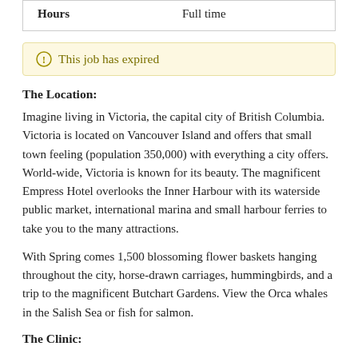| Hours | Full time |
This job has expired
The Location:
Imagine living in Victoria, the capital city of British Columbia. Victoria is located on Vancouver Island and offers that small town feeling (population 350,000) with everything a city offers. World-wide, Victoria is known for its beauty. The magnificent Empress Hotel overlooks the Inner Harbour with its waterside public market, international marina and small harbour ferries to take you to the many attractions.
With Spring comes 1,500 blossoming flower baskets hanging throughout the city, horse-drawn carriages, hummingbirds, and a trip to the magnificent Butchart Gardens. View the Orca whales in the Salish Sea or fish for salmon.
The Clinic: